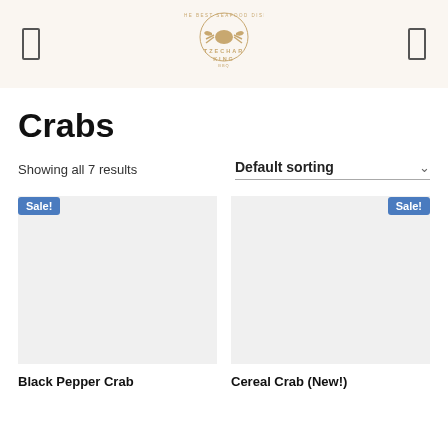Tzechar King (logo/navigation header)
Crabs
Showing all 7 results
Default sorting
Sale!
Sale!
Black Pepper Crab
Cereal Crab (New!)